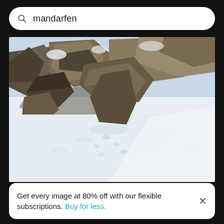mandarfen
[Figure (photo): Scenic view of snowcapped mountains — large rocky boulders with snow in foreground, bright sunlit snow in the lower portion, mountain rocky terrain in the upper portion, taken at high altitude on a clear day.]
Scenic view of snowcapped mountains against clear sky
Get every image at 80% off with our flexible subscriptions. Buy for less.